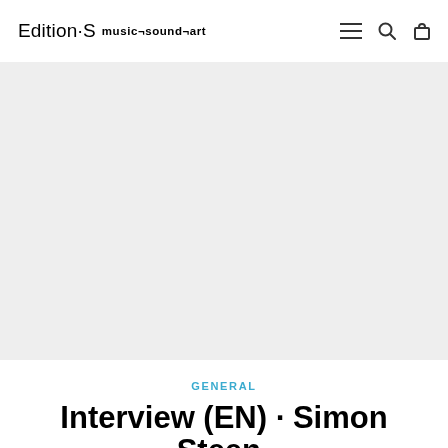Edition·S  music¬sound¬art
[Figure (illustration): Light gray rectangular hero image area, blank/placeholder]
GENERAL
Interview (EN) · Simon Steen-